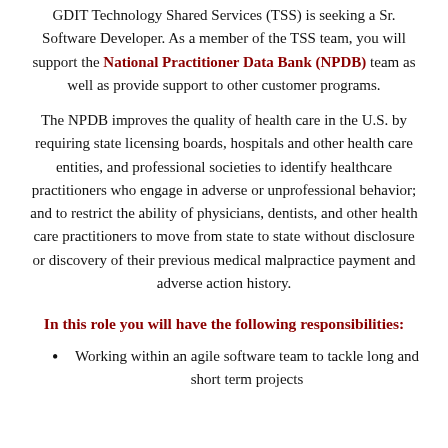GDIT Technology Shared Services (TSS) is seeking a Sr. Software Developer. As a member of the TSS team, you will support the National Practitioner Data Bank (NPDB) team as well as provide support to other customer programs.
The NPDB improves the quality of health care in the U.S. by requiring state licensing boards, hospitals and other health care entities, and professional societies to identify healthcare practitioners who engage in adverse or unprofessional behavior; and to restrict the ability of physicians, dentists, and other health care practitioners to move from state to state without disclosure or discovery of their previous medical malpractice payment and adverse action history.
In this role you will have the following responsibilities:
Working within an agile software team to tackle long and short term projects